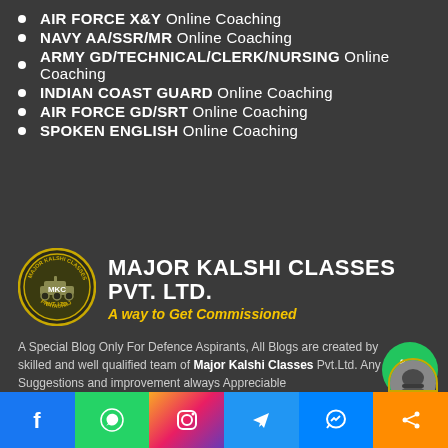AIR FORCE X&Y Online Coaching
NAVY AA/SSR/MR Online Coaching
ARMY GD/TECHNICAL/CLERK/NURSING Online Coaching
INDIAN COAST GUARD Online Coaching
AIR FORCE GD/SRT Online Coaching
SPOKEN ENGLISH Online Coaching
[Figure (logo): Major Kalshi Classes Pvt. Ltd. logo — circular badge with MKC text and 'PRAYAGRAJ' text, olive/gold color scheme]
MAJOR KALSHI CLASSES PVT. LTD. — A way to Get Commissioned
A Special Blog Only For Defence Aspirants, All Blogs are created by skilled and well qualified team of Major Kalshi Classes Pvt.Ltd. Any Suggestions and improvement always Appreciable
[Figure (infographic): Bottom social media bar with Facebook, WhatsApp, Instagram, Telegram, Messenger, and Share icons]